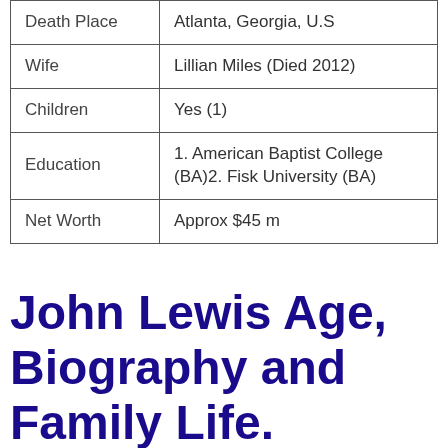| Death Place | Atlanta, Georgia, U.S |
| Wife | Lillian Miles (Died 2012) |
| Children | Yes (1) |
| Education | 1. American Baptist College (BA)2. Fisk University (BA) |
| Net Worth | Approx $45 m |
John Lewis Age, Biography and Family Life.